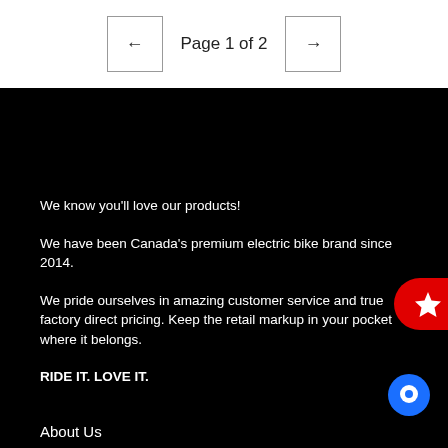Page 1 of 2
We know you'll love our products!
We have been Canada's premium electric bike brand since 2014.
We pride ourselves in amazing customer service and true factory direct pricing. Keep the retail markup in your pocket where it belongs.
RIDE IT. LOVE IT.
About Us